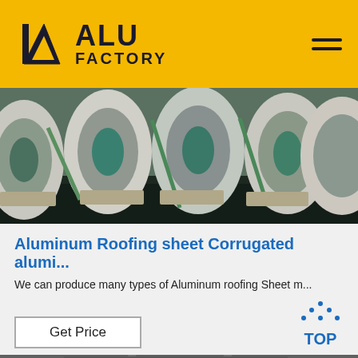ALU FACTORY
[Figure (photo): Large rolls of aluminum sheet coils stored in a factory yard, wrapped in protective covering, viewed from side]
Aluminum Roofing sheet Corrugated alumi...
We can produce many types of Aluminum roofing Sheet m...
Get Price
[Figure (photo): Interior of aluminum manufacturing factory showing flat aluminum sheets on the floor with industrial equipment]